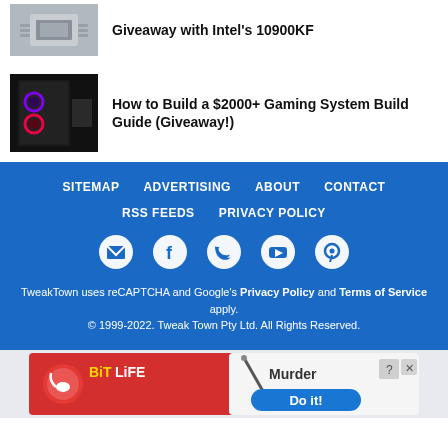[Figure (photo): CPU chip thumbnail image]
Giveaway with Intel's 10900KF
[Figure (photo): Black RGB gaming PC case thumbnail]
How to Build a $2000+ Gaming System Build Guide (Giveaway!)
SITEMAP  ADVERTISING  ABOUT  CONTACT  RSS FEEDS  PRIVACY POLICY  TweakTown uses reCAPTCHA and Google's Privacy Policy and Terms of Service apply.  © 1999-2022. Tweak Town Pty Ltd. All Rights Reserved.
[Figure (infographic): BitLife advertisement banner - Murder Do it!]